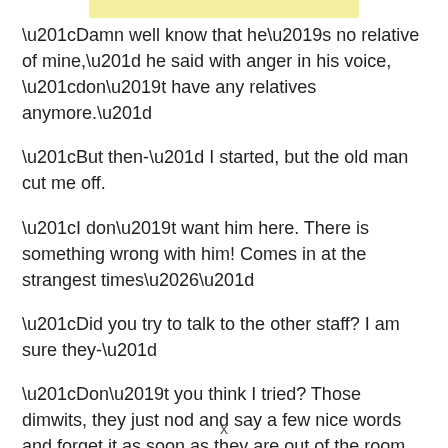“Damn well know that he’s no relative of mine,” he said with anger in his voice, “don’t have any relatives anymore.”
“But then-” I started, but the old man cut me off.
“I don’t want him here. There is something wrong with him! Comes in at the strangest times…”
“Did you try to talk to the other staff? I am sure they-”
“Don’t you think I tried? Those dimwits, they just nod and say a few nice words and forget it as soon as they are out of the room. Pah!”
x